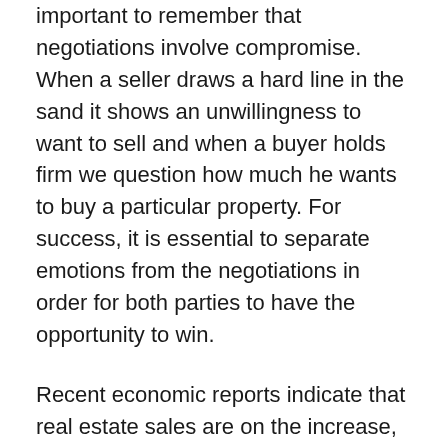important to remember that negotiations involve compromise. When a seller draws a hard line in the sand it shows an unwillingness to want to sell and when a buyer holds firm we question how much he wants to buy a particular property. For success, it is essential to separate emotions from the negotiations in order for both parties to have the opportunity to win.
Recent economic reports indicate that real estate sales are on the increase, especially since mortgage interest rates are still very low. While the areas where most of our buyers come from are booming, it still is a “buyer’s market” in our area, as there is still too much inventory and not enough buyers. Although our market prices are